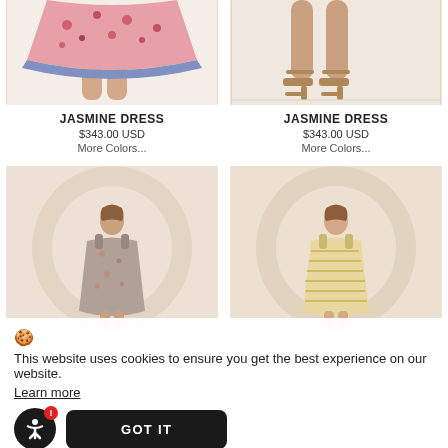[Figure (photo): Bottom half of a model wearing a pink floral mini dress with blue trim, on white background]
JASMINE DRESS
$343.00 USD
More Colors...
[Figure (photo): Feet and legs of a model in a dress with strappy heeled sandals, on cream background]
JASMINE DRESS
$343.00 USD
More Colors...
[Figure (photo): Full-length model wearing a sleeveless floral print dress, standing in front of cream arch backdrop]
[Figure (photo): Full-length model wearing a sleeveless striped dress, standing in front of cream arch backdrop]
JASMINE DRESS
JASMINE DRESS
🍪 This website uses cookies to ensure you get the best experience on our website. Learn more
GOT IT